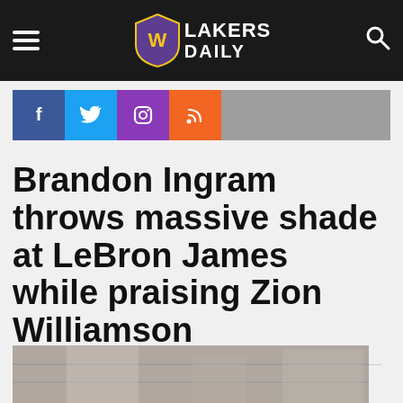Lakers Daily
[Figure (logo): Lakers Daily logo with shield emblem and hamburger menu and search icon on dark navigation bar]
[Figure (infographic): Social media icon bar with Facebook, Twitter, Instagram, and RSS icons]
Brandon Ingram throws massive shade at LeBron James while praising Zion Williamson
[Figure (photo): Partial photo at bottom of page, appears to show a basketball court or arena scene]